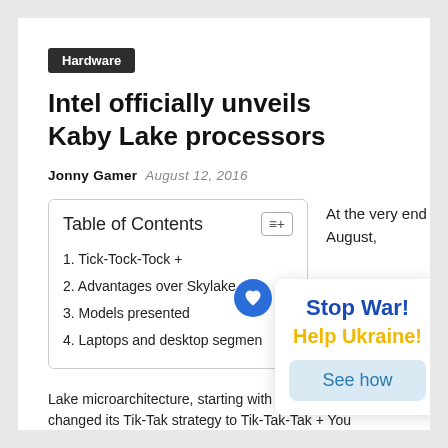Hardware
Intel officially unveils Kaby Lake processors
Jonny Gamer  August 12, 2016
Table of Contents
1. Tick-Tock-Tock +
2. Advantages over Skylake
3. Models presented
4. Laptops and desktop segment
At the very end of August,
Stop War!
Help Ukraine!
See how
Lake microarchitecture, starting with which Intel changed its Tik-Tak strategy to Tik-Tak-Tak + You